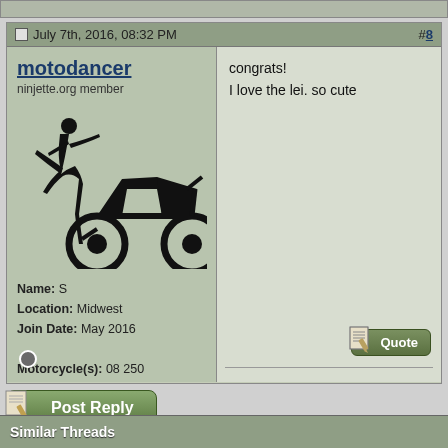July 7th, 2016, 08:32 PM  #8
motodancer
ninjette.org member
Name: S
Location: Midwest
Join Date: May 2016
Motorcycle(s): 08 250
Posts: 134
congrats!
I love the lei. so cute
Similar Threads